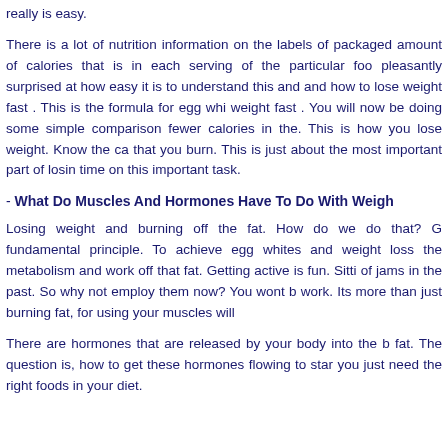really is easy.
There is a lot of nutrition information on the labels of packaged amount of calories that is in each serving of the particular foo pleasantly surprised at how easy it is to understand this and and how to lose weight fast . This is the formula for egg whi weight fast . You will now be doing some simple comparison fewer calories in the. This is how you lose weight. Know the ca that you burn. This is just about the most important part of losin time on this important task.
- What Do Muscles And Hormones Have To Do With Weigh
Losing weight and burning off the fat. How do we do that? G fundamental principle. To achieve egg whites and weight loss the metabolism and work off that fat. Getting active is fun. Sitti of jams in the past. So why not employ them now? You wont b work. Its more than just burning fat, for using your muscles will
There are hormones that are released by your body into the b fat. The question is, how to get these hormones flowing to star you just need the right foods in your diet.